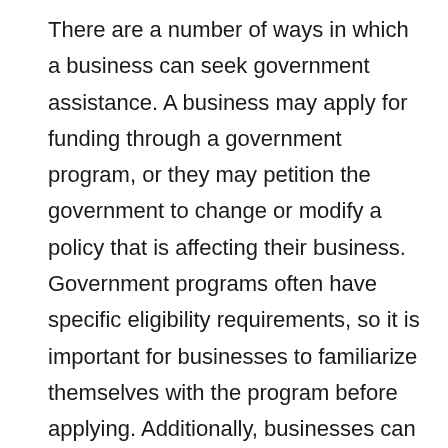There are a number of ways in which a business can seek government assistance. A business may apply for funding through a government program, or they may petition the government to change or modify a policy that is affecting their business. Government programs often have specific eligibility requirements, so it is important for businesses to familiarize themselves with the program before applying. Additionally, businesses can appeal decisions made by government officials if they feel that their application was not considered fairly. In some cases, businesses may be able to negotiate changes to unfavorable policies or receive additional funding as part of an agreement between the business and the government. Overall,